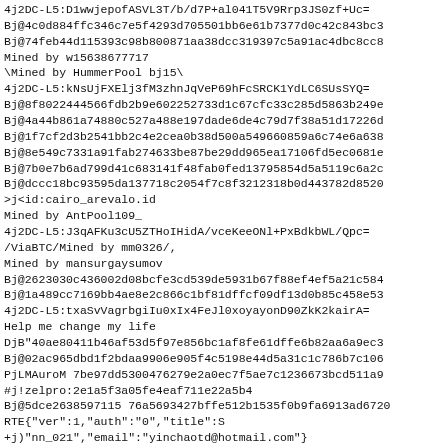4j2DC-L5:D1wwjepofASVL3T/b/d7P+al041T5V9Rrp3JS0zf+Uc=
Bj@4c0d884ffc346c7e5f4293d705501bb6e61b7377d0c42c843bc3
Bj@74feb44d115393c98b800871aa38dcc319397c5a91ac4dbc8cc8
Mined by w15638677717
\Mined by HummerPool bj15\
4j2DC-L5:kNsUjFXElj3fM3zhnJqVeP69hFcSRCK1YdLC6SUsSYQ=
Bj@8f8022444566fdb2b9e602252733d1c67cfc33c285d5863b249e
Bj@4a44b861a74880c527a488e197dade6de4c79d7f38a51d17226d
Bj@1f7cf2d3b2541bb2c4e2cea0b38d500a549660859a6c74e6a638
Bj@8e549c7331a91fab274633be87be29dd965ea17106fd5ec0681e
Bj@7b0e7b6ad799d41c683141f48fab0fed13795854d5a5119c6a2c
Bj@dccc18bc93595da137718c2054f7c8f3212318b0d443782d8520
>j<id:cairo_arevalo.id
Mined by AntPool109_
4j2DC-L5:J3qAFKu3cU5ZTHoIHidA/vceKeeONl+PxBdkbWL/Qpc=
/ViaBTC/Mined by mm0326/,
Mined by mansurgaysumov
Bj@2623030c436002d08bcfe3cd539de5931b67f88ef4ef5a21c584
Bj@1a489cc7169bb4ae8e2c866c1bf81dffcf09df13d0b85c458e53
4j2DC-L5:txaSvVagrbgiIu0xIx4FeJl0xoyayonD90ZkK2kairA=
Help me change my life
DjB"40ae80411b46af53d5f97e856bc1af8fe61dffe6b82aa6a9ec3
Bj@02ac965dbd1f2bdaa9906e905f4c5198e44d5a31c1c786b7c106
PjLMAuroM 7be97dd5300476279e2a0ec7f5ae7c1236673bcd511a9
#j!zelpro:2e1a5f3a05fe4eaf711e22a5b4
Bj@5dce2638597115 76a5693427bffe512b1535f0b9fa6913ad6720
RTE{"ver":1,"auth":"0","title":S
+j)"nn_021","email":"yinchaotd@hotmail.com"}
FjD94130e558e633d2b17f712b5d37b408a,1558064477,30.28297
FjDf66b1d2a7b24448f45071f0b6a5202d1,1558091286,31.32008